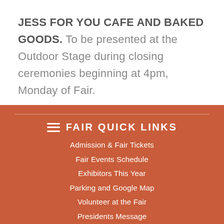JESS FOR YOU CAFE AND BAKED GOODS. To be presented at the Outdoor Stage during closing ceremonies beginning at 4pm, Monday of Fair.
FAIR QUICK LINKS
Admission & Fair Tickets
Fair Events Schedule
Exhibitors This Year
Parking and Google Map
Volunteer at the Fair
Presidents Message